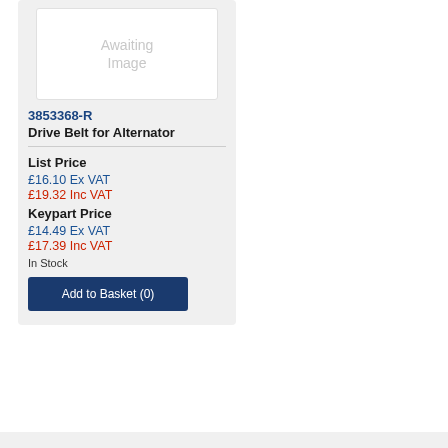[Figure (other): Awaiting Image placeholder box]
3853368-R
Drive Belt for Alternator
List Price
£16.10 Ex VAT
£19.32 Inc VAT
Keypart Price
£14.49 Ex VAT
£17.39 Inc VAT
In Stock
Add to Basket (0)